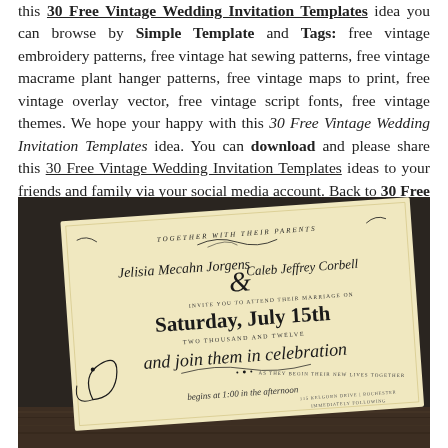this 30 Free Vintage Wedding Invitation Templates idea you can browse by Simple Template and Tags: free vintage embroidery patterns, free vintage hat sewing patterns, free vintage macrame plant hanger patterns, free vintage maps to print, free vintage overlay vector, free vintage script fonts, free vintage themes. We hope your happy with this 30 Free Vintage Wedding Invitation Templates idea. You can download and please share this 30 Free Vintage Wedding Invitation Templates ideas to your friends and family via your social media account. Back to 30 Free Vintage Wedding Invitation Templates
[Figure (photo): A vintage-style wedding invitation card on cream/ivory paper with ornate black script and decorative flourishes, placed at an angle on a wooden surface. The invitation reads: TOGETHER WITH THEIR PARENTS, Jelisia Mecahn Jorgens & Caleb Jeffrey Corbell INVITE YOU TO ATTEND THEIR MARRIAGE ON Saturday, July 15th TWO THOUSAND AND TWELVE and join them in celebration AS THEY BEGIN THEIR NEW LIVES TOGETHER begins at 1:00 in the afternoon 115 KELGORN DRIVE | ROCHESTER IMMEDIATELY FOLLOWING]